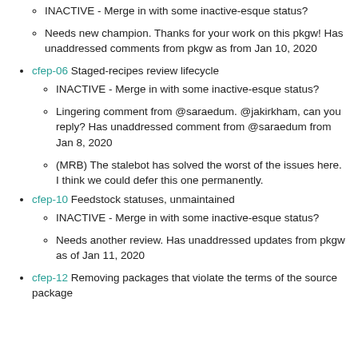INACTIVE - Merge in with some inactive-esque status?
Needs new champion. Thanks for your work on this pkgw! Has unaddressed comments from pkgw as from Jan 10, 2020
cfep-06 Staged-recipes review lifecycle
INACTIVE - Merge in with some inactive-esque status?
Lingering comment from @saraedum. @jakirkham, can you reply? Has unaddressed comment from @saraedum from Jan 8, 2020
(MRB) The stalebot has solved the worst of the issues here. I think we could defer this one permanently.
cfep-10 Feedstock statuses, unmaintained
INACTIVE - Merge in with some inactive-esque status?
Needs another review. Has unaddressed updates from pkgw as of Jan 11, 2020
cfep-12 Removing packages that violate the terms of the source package